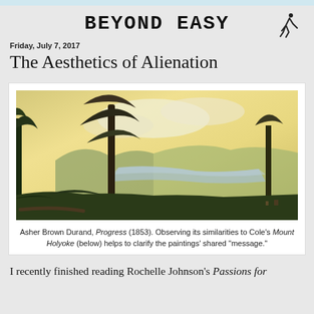BEYOND EASY
Friday, July 7, 2017
The Aesthetics of Alienation
[Figure (illustration): Asher Brown Durand painting 'Progress' (1853), a landscape oil painting showing trees in the foreground, a river valley, distant hills, and golden sky.]
Asher Brown Durand, Progress (1853). Observing its similarities to Cole's Mount Holyoke (below) helps to clarify the paintings' shared "message."
I recently finished reading Rochelle Johnson's Passions for